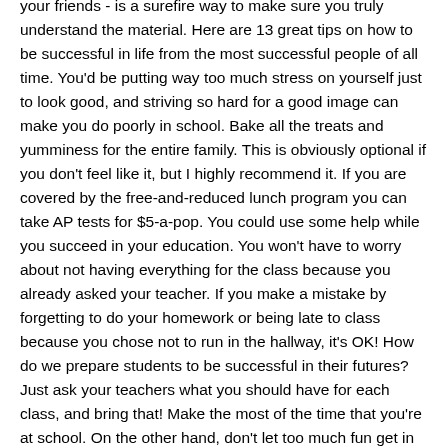your friends - is a surefire way to make sure you truly understand the material. Here are 13 great tips on how to be successful in life from the most successful people of all time. You'd be putting way too much stress on yourself just to look good, and striving so hard for a good image can make you do poorly in school. Bake all the treats and yumminess for the entire family. This is obviously optional if you don't feel like it, but I highly recommend it. If you are covered by the free-and-reduced lunch program you can take AP tests for $5-a-pop. You could use some help while you succeed in your education. You won't have to worry about not having everything for the class because you already asked your teacher. If you make a mistake by forgetting to do your homework or being late to class because you chose not to run in the hallway, it's OK! How do we prepare students to be successful in their futures? Just ask your teachers what you should have for each class, and bring that! Make the most of the time that you're at school. On the other hand, don't let too much fun get in the way of your study time. Making goals and prioritizing them is a great way to be successful in high school. It's not the easiest. 1. The #1 Key to Being Successful in High School: Prioritization Prioritization is